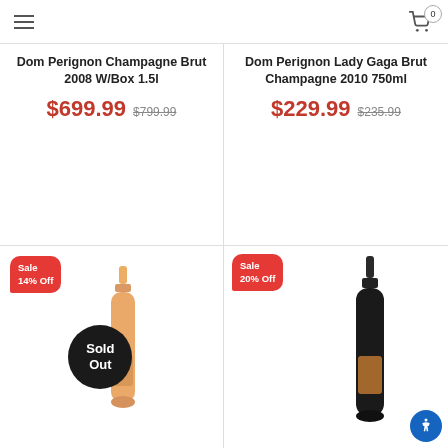Menu | Cart 0
Dom Perignon Champagne Brut 2008 W/Box 1.5l
$699.99  $799.99
Dom Perignon Lady Gaga Brut Champagne 2010 750ml
$229.99  $235.99
[Figure (photo): Champagne bottle with Sale 14% Off badge and Sold Out overlay circle]
[Figure (photo): Champagne bottle (Veuve Clicquot style) with Sale 20% Off badge]